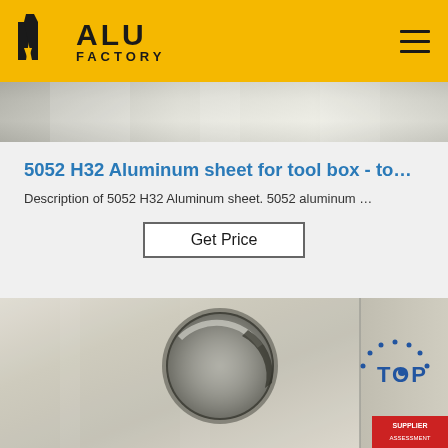ALU FACTORY
[Figure (photo): Close-up of aluminum sheet surface, silvery metallic texture]
5052 H32 Aluminum sheet for tool box - to…
Description of 5052 H32 Aluminum sheet. 5052 aluminum …
Get Price
[Figure (photo): Aluminum sheet with a circular hole cut into it, showing the sheet's thickness and metallic surface. A TOP badge/watermark is visible in the lower right corner.]